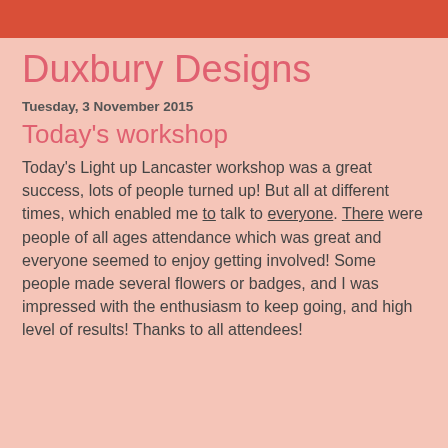Duxbury Designs
Tuesday, 3 November 2015
Today's workshop
Today's Light up Lancaster workshop was a great success, lots of people turned up! But all at different times, which enabled me to talk to everyone. There were people of all ages attendance which was great and everyone seemed to enjoy getting involved! Some people made several flowers or badges, and I was impressed with the enthusiasm to keep going, and high level of results! Thanks to all attendees!